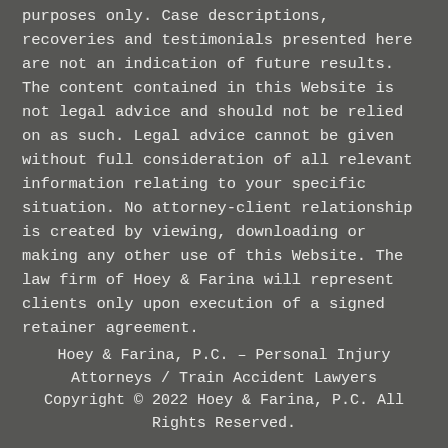purposes only. Case descriptions, recoveries and testimonials presented here are not an indication of future results. The content contained in this Website is not legal advice and should not be relied on as such. Legal advice cannot be given without full consideration of all relevant information relating to your specific situation. No attorney-client relationship is created by viewing, downloading or making any other use of this Website. The law firm of Hoey & Farina will represent clients only upon execution of a signed retainer agreement.
Hoey & Farina, P.C. – Personal Injury Attorneys / Train Accident Lawyers
Copyright © 2022 Hoey & Farina, P.C. All Rights Reserved.